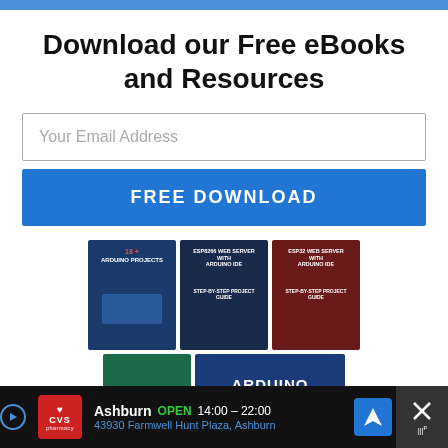Download our Free eBooks and Resources
Your Email Address
FREE DOWNLOAD
[Figure (photo): Three eBook covers: '18+ Arduino Projects', 'ESP8266 Web Server with Arduino IDE', 'ESP32 Web Server with Arduino IDE', plus small book covers and Arduino Mini Course banner]
Ashburn OPEN 14:00 – 22:00 43930 Farmwell Hunt Plaza, Ashburn